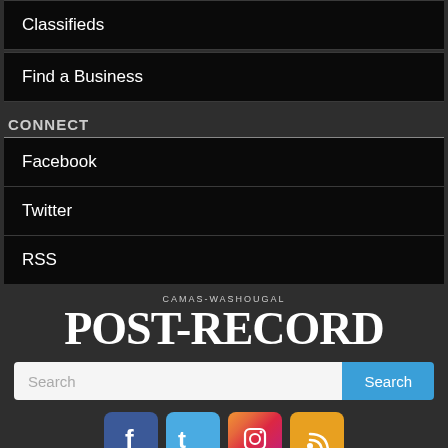Classifieds
Find a Business
CONNECT
Facebook
Twitter
RSS
[Figure (logo): Camas-Washougal Post-Record newspaper logo]
[Figure (screenshot): Search bar with Search button]
[Figure (infographic): Social media icons: Facebook, Twitter, Instagram, RSS]